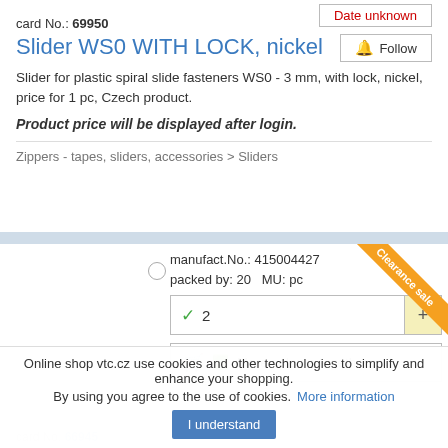Date unknown
Follow
card No.: 69950
Slider WS0 WITH LOCK, nickel
Slider for plastic spiral slide fasteners WS0 - 3 mm, with lock, nickel, price for 1 pc, Czech product.
Product price will be displayed after login.
Zippers - tapes, sliders, accessories > Sliders
manufact.No.: 415004427
packed by: 20   MU: pc
✔ 2
More colours together...
card No. 66945
Slider WS10 NOT NICKEL-PLATED
Clearance sale
Online shop vtc.cz use cookies and other technologies to simplify and enhance your shopping.
By using you agree to the use of cookies. More information
I understand